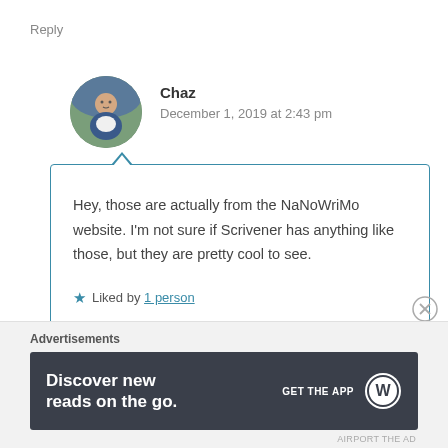Reply
Chaz
December 1, 2019 at 2:43 pm
Hey, those are actually from the NaNoWriMo website. I'm not sure if Scrivener has anything like those, but they are pretty cool to see.
★ Liked by 1 person
Advertisements
Discover new reads on the go. GET THE APP